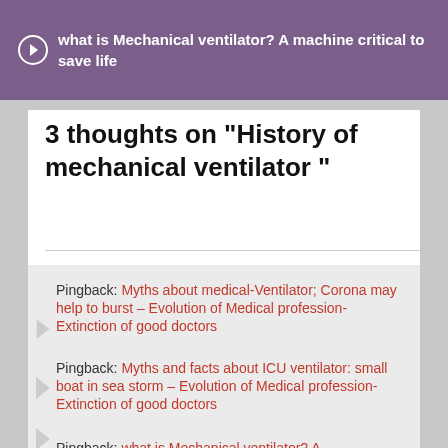what is Mechanical ventilator? A machine critical to save life
3 thoughts on “History of mechanical ventilator ”
Pingback: Myths about medical-Ventilator; Corona may help to burst – Evolution of Medical profession-Extinction of good doctors
Pingback: Myths and facts about ICU ventilator: small boat in sea storm – Evolution of Medical profession-Extinction of good doctors
Pingback: what is Mechanical ventilator? A